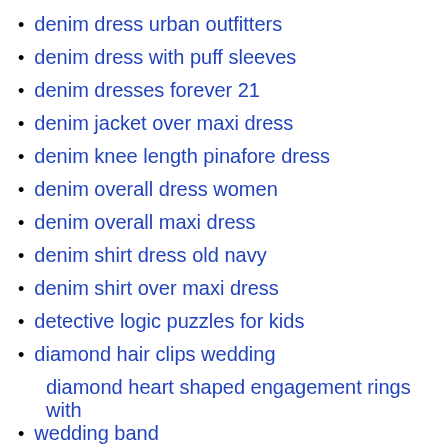denim dress urban outfitters
denim dress with puff sleeves
denim dresses forever 21
denim jacket over maxi dress
denim knee length pinafore dress
denim overall dress women
denim overall maxi dress
denim shirt dress old navy
denim shirt over maxi dress
detective logic puzzles for kids
diamond hair clips wedding
diamond heart shaped engagement rings with wedding band
difference between trade name and generic name
different animals in groups